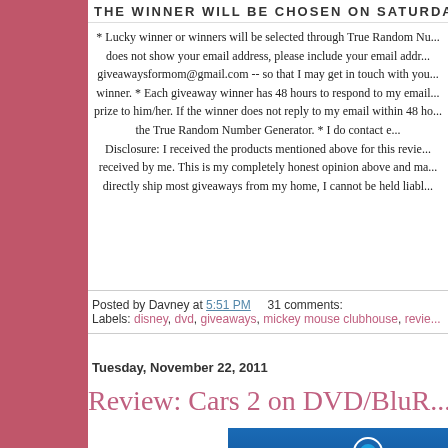THE WINNER WILL BE CHOSEN ON SATURDAY
* Lucky winner or winners will be selected through True Random Nu... does not show your email address, please include your email addr... giveawaysformom@gmail.com -- so that I may get in touch with you... winner. * Each giveaway winner has 48 hours to respond to my email... prize to him/her. If the winner does not reply to my email within 48 ho... the True Random Number Generator. * I do contact e... Disclosure: I received the products mentioned above for this revie... received by me. This is my completely honest opinion above and ma... directly ship most giveaways from my home, I cannot be held liabl...
Posted by Davney at 5:51 PM     31 comments:
Labels: disney, dvd, giveaways, mickey mouse clubhouse, revie...
Tuesday, November 22, 2011
Review: Cars 2 on DVD/BluR...
[Figure (photo): Blu-ray + DVD product packaging showing BLU-RAY logo with Blu-ray disc icon]